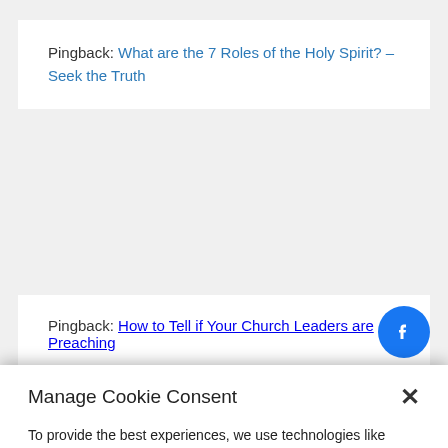Pingback: What are the 7 Roles of the Holy Spirit? – Seek the Truth
Pingback: How to Tell if Your Church Leaders are Preaching...
Manage Cookie Consent
To provide the best experiences, we use technologies like cookies to store and/or access device information. Consenting to these technologies will allow us to process data such as browsing behavior or unique IDs on this site. Not consenting or withdrawing consent, may adversely affect certain features and functions.
Accept
English
kie Policy